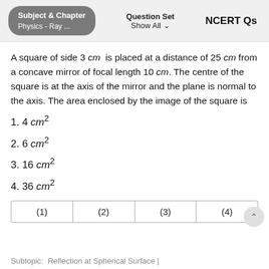Subject & Chapter: Physics - Ray ... | Question Set: Show All | NCERT Qs
A square of side 3 cm is placed at a distance of 25 cm from a concave mirror of focal length 10 cm. The centre of the square is at the axis of the mirror and the plane is normal to the axis. The area enclosed by the image of the square is
1. 4 cm²
2. 6 cm²
3. 16 cm²
4. 36 cm²
| (1) | (2) | (3) | (4) |
| --- | --- | --- | --- |
Subtopic: Reflection at Spherical Surface |